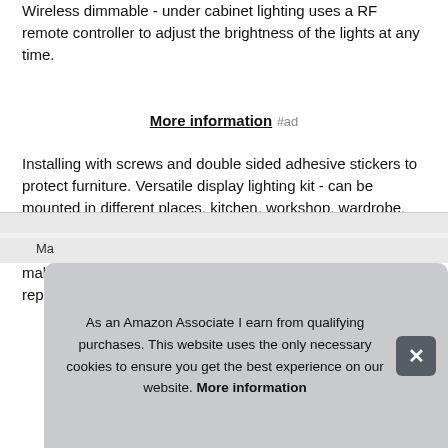Wireless dimmable - under cabinet lighting uses a RF remote controller to adjust the brightness of the lights at any time.
More information #ad
Installing with screws and double sided adhesive stickers to protect furniture. Versatile display lighting kit - can be mounted in different places, kitchen, workshop, wardrobe, counter, China medicine cabinet, closet, curio, shelf, table etc. Linkable & replaceable - led puck lights are linkable with male-female dc connectors. The cabinet lights can be replaceable if gone bad, no need to remove all parts.
As an Amazon Associate I earn from qualifying purchases. This website uses the only necessary cookies to ensure you get the best experience on our website. More information